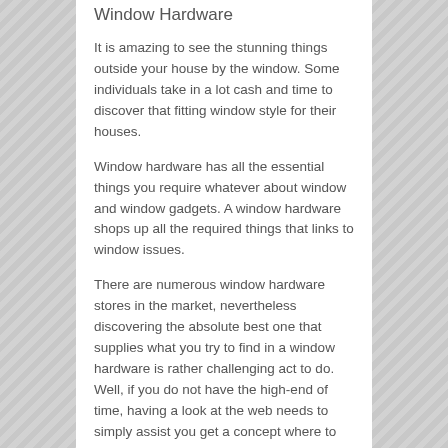Window Hardware
It is amazing to see the stunning things outside your house by the window. Some individuals take in a lot cash and time to discover that fitting window style for their houses.
Window hardware has all the essential things you require whatever about window and window gadgets. A window hardware shops up all the required things that links to window issues.
There are numerous window hardware stores in the market, nevertheless discovering the absolute best one that supplies what you try to find in a window hardware is rather challenging act to do. Well, if you do not have the high-end of time, having a look at the web needs to simply assist you get a concept where to